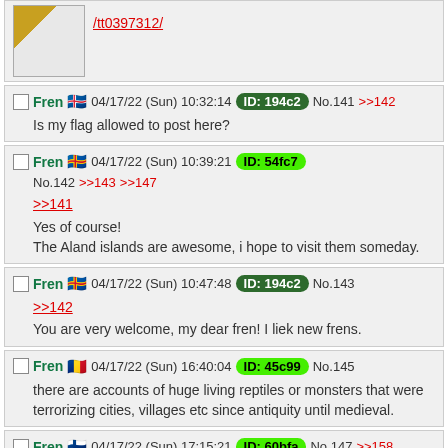/tt0397312/
Fren 04/17/22 (Sun) 10:32:14 ID: 194c2 No.141 >>142
Is my flag allowed to post here?
Fren 04/17/22 (Sun) 10:39:21 ID: 54fc7 No.142 >>143 >>147
>>141
Yes of course!
The Aland islands are awesome, i hope to visit them someday.
Fren 04/17/22 (Sun) 10:47:48 ID: 194c2 No.143
>>142
You are very welcome, my dear fren! I liek new frens.
Fren 04/17/22 (Sun) 16:40:04 ID: 45c99 No.145
there are accounts of huge living reptiles or monsters that were terrorizing cities, villages etc since antiquity until medieval.
Fren 04/17/22 (Sun) 17:15:21 ID: 60bfa No.147 >>158